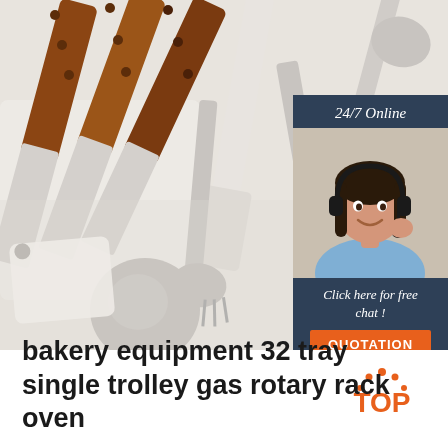[Figure (photo): Kitchen utensils with wooden handles and stainless steel heads including spatulas, spoons, and serving forks on a white background, with a 24/7 online chat advertisement overlay in the top right corner]
[Figure (logo): TOP logo with orange dotted arc above the word TOP in orange on white background]
bakery equipment 32 tray single trolley gas rotary rack oven